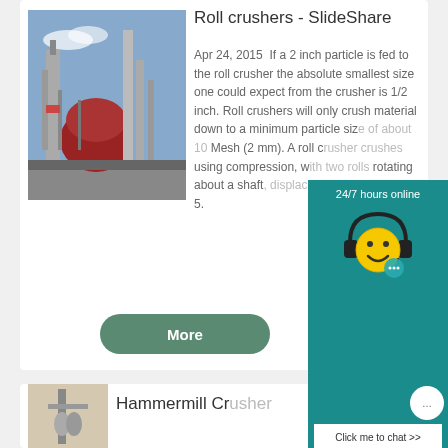Roll crushers - SlideShare
Apr 24, 2015  If a 2 inch particle is fed to the roll crusher the absolute smallest size one could expect from the crusher is 1/2 inch. Roll crushers will only crush material down to a minimum particle size of about 10 Mesh (2 mm). A roll crusher crushes using compression, with two rolls rotating about a shaft, displacing the material between the rolls 5.
[Figure (photo): Industrial facility with towers and silos against blue sky]
More
Hammermill Crusher
[Figure (photo): Hammermill crusher equipment image]
[Figure (illustration): Live chat widget showing 24/7 hours online with smiley face avatar, Click me to chat button, Enquiry section, and email superbrian707@gm...]